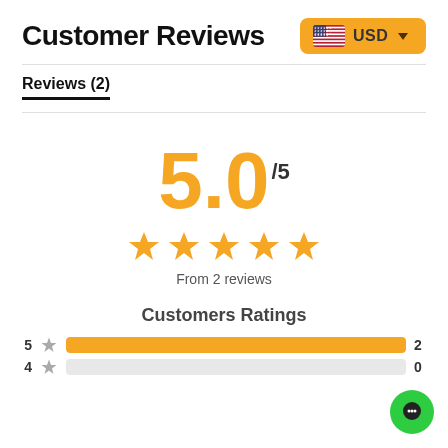Customer Reviews
[Figure (screenshot): USD currency selector badge with US flag and dropdown arrow]
Reviews (2)
[Figure (infographic): Rating display: 5.0/5 in large gold text, 5 gold stars, text 'From 2 reviews']
Customers Ratings
[Figure (bar-chart): Customers Ratings]